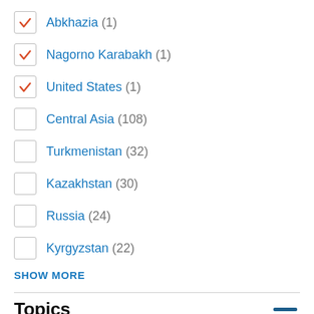Abkhazia (1) [checked]
Nagorno Karabakh (1) [checked]
United States (1) [checked]
Central Asia (108) [unchecked]
Turkmenistan (32) [unchecked]
Kazakhstan (30) [unchecked]
Russia (24) [unchecked]
Kyrgyzstan (22) [unchecked]
SHOW MORE
Topics
Economy (40) [checked]